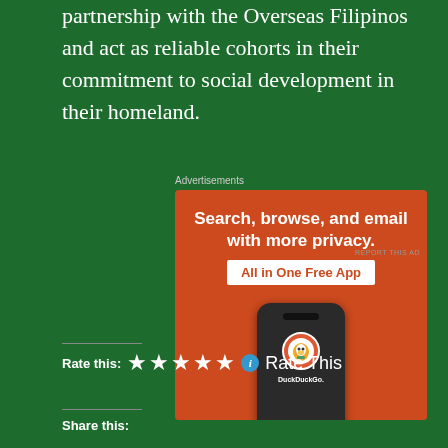partnership with the Overseas Filipinos and act as reliable cohorts in their commitment to social development in their homeland.
Advertisements
[Figure (other): DuckDuckGo advertisement: orange background with a phone showing DuckDuckGo logo. Text reads 'Search, browse, and email with more privacy. All in One Free App']
REPORT THIS AD
Rate this: ★★★★★ ℹ Rate This
Share this: